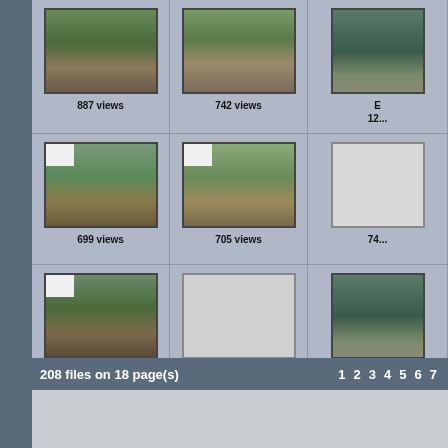[Figure (photo): Thumbnail gallery row 1: outdoor scene with people near water, 887 views]
[Figure (photo): Thumbnail gallery row 1: outdoor scene with people, 742 views]
[Figure (photo): Thumbnail gallery row 1: partial image, text visible, 12x views (truncated)]
[Figure (photo): Thumbnail gallery row 2: outdoor golf/park scene, 699 views]
[Figure (photo): Thumbnail gallery row 2: outdoor golf/park scene, 705 views]
[Figure (photo): Thumbnail gallery row 2: blank/placeholder, 74x views (truncated)]
[Figure (photo): Thumbnail gallery row 3: Pdvd_029.jpg Large Bell Frame, 1306 views]
[Figure (photo): Thumbnail gallery row 3: blank placeholder, 718 views]
[Figure (photo): Thumbnail gallery row 3: partial outdoor image, Hay... 14x views (truncated)]
208 files on 18 page(s)
1 2 3 4 5 6 7